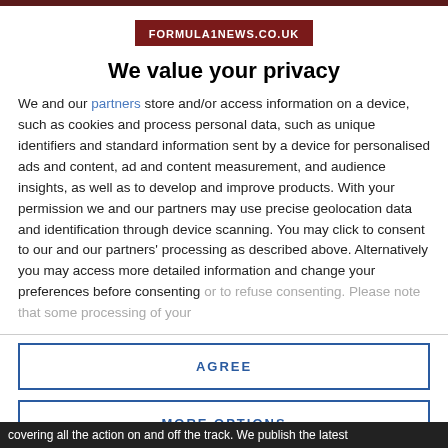[Figure (logo): Formula1News.co.uk logo in dark red/maroon rectangle with white text]
We value your privacy
We and our partners store and/or access information on a device, such as cookies and process personal data, such as unique identifiers and standard information sent by a device for personalised ads and content, ad and content measurement, and audience insights, as well as to develop and improve products. With your permission we and our partners may use precise geolocation data and identification through device scanning. You may click to consent to our and our partners' processing as described above. Alternatively you may access more detailed information and change your preferences before consenting or to refuse consenting. Please note that some processing of your
AGREE
MORE OPTIONS
covering all the action on and off the track. We publish the latest